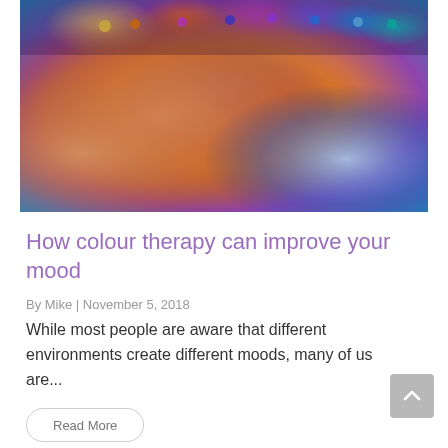[Figure (photo): Woman lying back in a spa/wellness setting with colorful LED lights illuminating the background and a glowing blue/purple neck pillow beneath her head. Warm orange and amber tones dominate with colorful accent lights (yellow, orange, purple, blue, teal) around the perimeter.]
How colour therapy can improve your mood
By Mike | November 5, 2018
While most people are aware that different environments create different moods, many of us are...